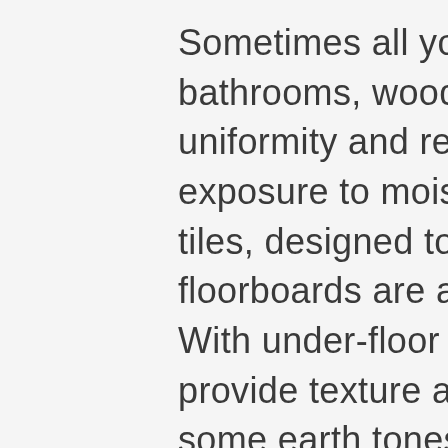Sometimes all you want is wood; but for bathrooms, wooden floorboards can lack uniformity and resistance to prolonged exposure to moisture. So, these ceramic tiles, designed to resemble genuine floorboards are a wonderful compromise. With under-floor heating, these lovely tiles provide texture and luxury, while adding some earth tones to this lovely, white bathroom. These wooden-effect tiles bring the best of both worlds to interiors and can be arranged in lots of beautiful ways. Check out figure 2 for a beautiful herringbone arrangement that adds design possibilities that would typically be impossible with traditional floorboards. The dusty grey-is hint of the tiled boards in figure 2 establishes a fabulous expanse